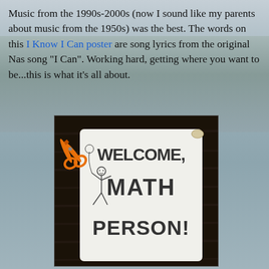Music from the 1990s-2000s (now I sound like my parents about music from the 1950s) was the best. The words on this I Know I Can poster are song lyrics from the original Nas song "I Can". Working hard, getting where you want to be...this is what it's all about.
[Figure (photo): Photo of a white welcome sign on a dark wooden table reading 'WELCOME, MATH PERSON!' with a stick figure drawing and orange scissors visible to the left.]